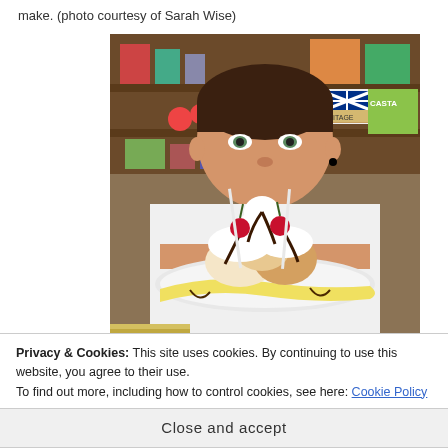make. (photo courtesy of Sarah Wise)
[Figure (photo): A woman holds up a large banana split sundae with whipped cream, chocolate sauce, and cherries on top, looking over it toward the camera. Background shows shelves with boxes and products including a UK flag motif and 'CASTARD' text.]
Privacy & Cookies: This site uses cookies. By continuing to use this website, you agree to their use.
To find out more, including how to control cookies, see here: Cookie Policy
Close and accept